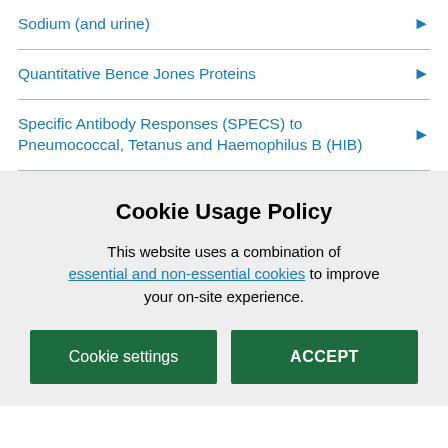Sodium (and urine)
Quantitative Bence Jones Proteins
Specific Antibody Responses (SPECS) to Pneumococcal, Tetanus and Haemophilus B (HIB)
Cookie Usage Policy
This website uses a combination of essential and non-essential cookies to improve your on-site experience.
Cookie settings
ACCEPT